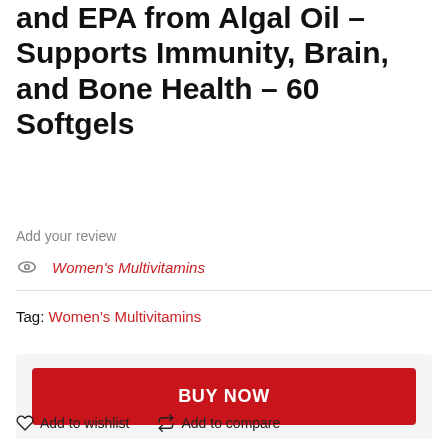and EPA from Algal Oil – Supports Immunity, Brain, and Bone Health – 60 Softgels
Add your review
Women's Multivitamins
Tag: Women's Multivitamins
BUY NOW
Add to wishlist
Add to compare